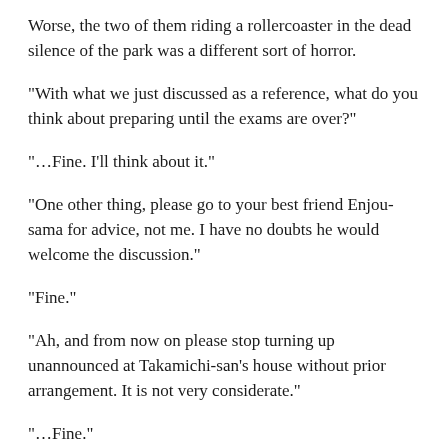Worse, the two of them riding a rollercoaster in the dead silence of the park was a different sort of horror.
"With what we just discussed as a reference, what do you think about preparing until the exams are over?"
"…Fine. I'll think about it."
"One other thing, please go to your best friend Enjou-sama for advice, not me. I have no doubts he would welcome the discussion."
"Fine."
"Ah, and from now on please stop turning up unannounced at Takamichi-san's house without prior arrangement. It is not very considerate."
"…Fine."